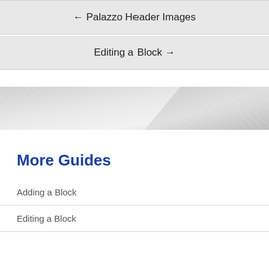← Palazzo Header Images
Editing a Block →
[Figure (illustration): Decorative banner with diagonal stripe pattern in light grey tones]
More Guides
Adding a Block
Editing a Block